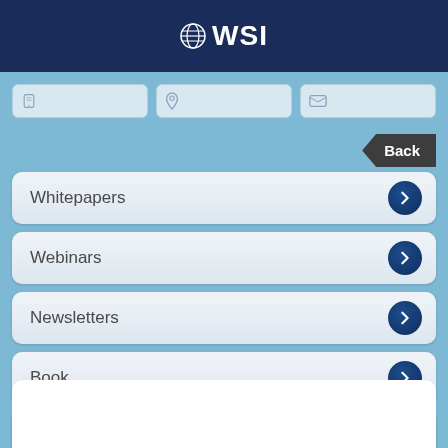WSI
[Figure (screenshot): Three input/search bar fields in a row with icons: phone/tablet icon, location pin icon, and envelope/email icon]
Back
Whitepapers
Webinars
Newsletters
Book
Guides